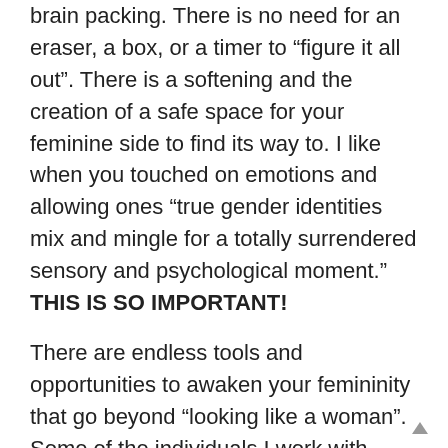brain packing. There is no need for an eraser, a box, or a timer to “figure it all out”. There is a softening and the creation of a safe space for your feminine side to find its way to. I like when you touched on emotions and allowing ones “true gender identities mix and mingle for a totally surrendered sensory and psychological moment.” THIS IS SO IMPORTANT!
There are endless tools and opportunities to awaken your femininity that go beyond “looking like a woman”. Some of the individuals I work with have found comfort in putting on a pair of high heels and simply tuning into how their insides feel and how easily they are able to activate feminine movement. What about smell? To purchase a scented lotion or hand soap. A feminine scent has a really intense way of activating one’s feminine side. What about your sight? To noticing how women move in the world is an important practice. Observing the differences between men